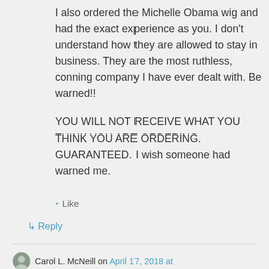I also ordered the Michelle Obama wig and had the exact experience as you. I don't understand how they are allowed to stay in business. They are the most ruthless, conning company I have ever dealt with. Be warned!!

YOU WILL NOT RECEIVE WHAT YOU THINK YOU ARE ORDERING. GUARANTEED. I wish someone had warned me.
★ Like
↳ Reply
Carol L. McNeill on April 17, 2018 at